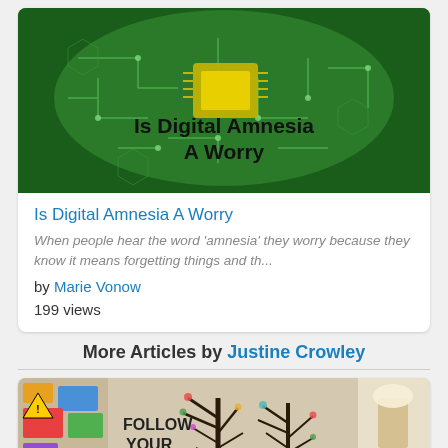[Figure (illustration): Circuit board brain image with text overlay 'Is Digital Amnesia A Worry']
Is Digital Amnesia A Worry
When people hear the word 'amnesia' they worry because they know it means forgetting things and th...
by Marie Vonow
199 views
More Articles by Justine Crowley
[Figure (photo): Colorful image with tree silhouettes and 'Follow Your Dreams' text on wall]